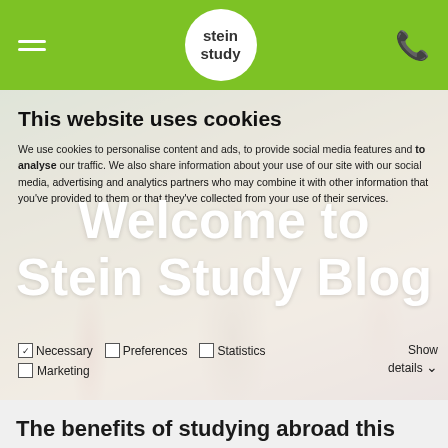[Figure (screenshot): Green navigation bar with hamburger menu, Stein Study circular logo, and phone icon]
[Figure (screenshot): Hero image showing students in a room overlaid with a cookie consent dialog and 'Welcome to Stein Study Blog' text in white]
The benefits of studying abroad this summer